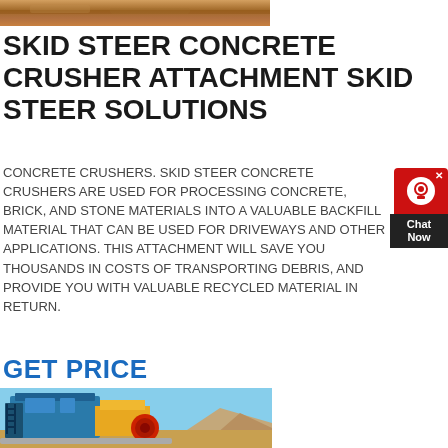[Figure (photo): Top partial photo of crushed stone/rock material, brown and sandy tones]
SKID STEER CONCRETE CRUSHER ATTACHMENT SKID STEER SOLUTIONS
CONCRETE CRUSHERS. SKID STEER CONCRETE CRUSHERS ARE USED FOR PROCESSING CONCRETE, BRICK, AND STONE MATERIALS INTO A VALUABLE BACKFILL MATERIAL THAT CAN BE USED FOR DRIVEWAYS AND OTHER APPLICATIONS. THIS ATTACHMENT WILL SAVE YOU THOUSANDS IN COSTS OF TRANSPORTING DEBRIS, AND PROVIDE YOU WITH VALUABLE RECYCLED MATERIAL IN RETURN.
GET PRICE
[Figure (photo): Industrial concrete crusher machine, blue and yellow heavy equipment with red circular component, desert/arid landscape in background]